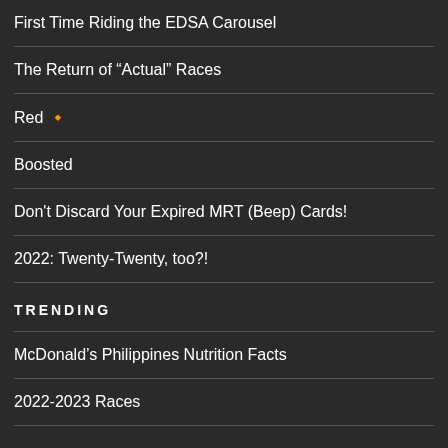First Time Riding the EDSA Carousel
The Return of “Actual” Races
Red 🔸
Boosted
Don't Discard Your Expired MRT (Beep) Cards!
2022: Twenty-Twenty, too?!
TRENDING
McDonald’s Philippines Nutrition Facts
2022-2023 Races